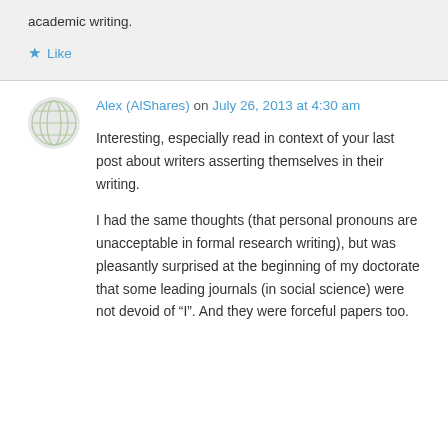academic writing.
Like
Alex (AlShares) on July 26, 2013 at 4:30 am
Interesting, especially read in context of your last post about writers asserting themselves in their writing.
I had the same thoughts (that personal pronouns are unacceptable in formal research writing), but was pleasantly surprised at the beginning of my doctorate that some leading journals (in social science) were not devoid of "I". And they were forceful papers too.